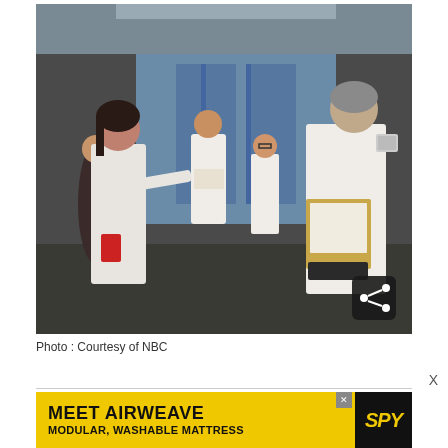[Figure (photo): Hospital corridor scene with doctors and medical staff in white lab coats. A woman with dark hair in a white coat faces a tall man with grey hair also in a white coat holding a large manila envelope/folder. Background shows other medical staff reviewing documents near blue hospital doors.]
Photo : Courtesy of NBC
[Figure (other): Advertisement banner: MEET AIRWEAVE / MODULAR, WASHABLE MATTRESS with SPY logo]